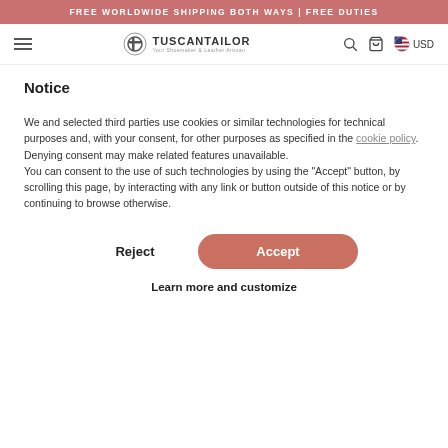FREE WORLDWIDE SHIPPING BOTH WAYS | FREE DUTIES
[Figure (logo): TuscanTailor logo with circular emblem and tagline 'Your Shoemaker & Leather Artisan']
Notice
We and selected third parties use cookies or similar technologies for technical purposes and, with your consent, for other purposes as specified in the cookie policy. Denying consent may make related features unavailable.
You can consent to the use of such technologies by using the “Accept” button, by scrolling this page, by interacting with any link or button outside of this notice or by continuing to browse otherwise.
Reject
Accept
Learn more and customize